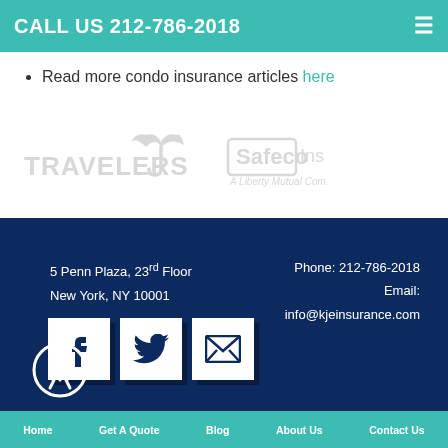CALL US 212-786-2018
Read more condo insurance articles here
[Figure (logo): Travelers Insurance logo (gray) and Safeco Insurance - A Liberty Mutual Company logo (gray), shown side by side]
5 Penn Plaza, 23rd Floor
New York, NY 10001
Phone: 212-786-2018
Email:
info@kjeinsurance.com
[Figure (infographic): Social media icons: Facebook, Twitter, and Email/envelope icons in white squares with shadow effect on dark blue background]
[Figure (illustration): Accessibility icon: person in circle, white on dark blue background]
Home   Get A Quote   Blog   About Us   Contact Us